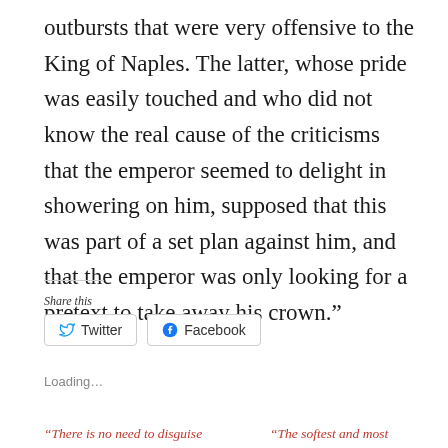outbursts that were very offensive to the King of Naples. The latter, whose pride was easily touched and who did not know the real cause of the criticisms that the emperor seemed to delight in showering on him, supposed that this was part of a set plan against him, and that the emperor was only looking for a pretext to take away his crown.”
Share this
[Figure (other): Twitter and Facebook share buttons]
Loading…
“There is no need to disguise
“The softest and most